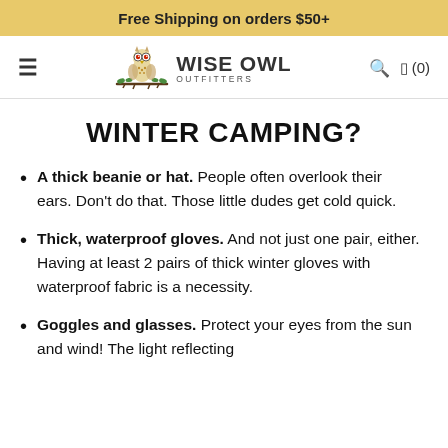Free Shipping on orders $50+
[Figure (logo): Wise Owl Outfitters logo with owl illustration and brand name]
WINTER CAMPING?
A thick beanie or hat. People often overlook their ears. Don't do that. Those little dudes get cold quick.
Thick, waterproof gloves. And not just one pair, either. Having at least 2 pairs of thick winter gloves with waterproof fabric is a necessity.
Goggles and glasses. Protect your eyes from the sun and wind! The light reflecting